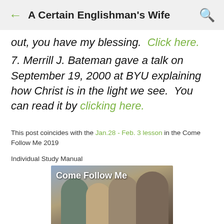A Certain Englishman's Wife
out, you have my blessing.  Click here.
7. Merrill J. Bateman gave a talk on September 19, 2000 at BYU explaining how Christ is in the light we see.  You can read it by clicking here.
This post coincides with the Jan.28 - Feb. 3 lesson in the Come Follow Me 2019
Individual Study Manual
[Figure (photo): Image showing people in biblical-era robes with text overlay reading 'Come Follow Me']